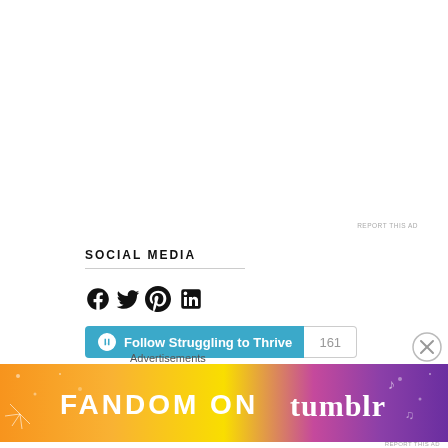REPORT THIS AD
SOCIAL MEDIA
[Figure (infographic): Social media icons: Facebook, Twitter, Pinterest, LinkedIn]
[Figure (infographic): Follow Struggling to Thrive button with WordPress icon and follower count 161]
Advertisements
[Figure (infographic): Fandom on Tumblr advertisement banner with colorful orange, yellow, and purple gradient background]
REPORT THIS AD